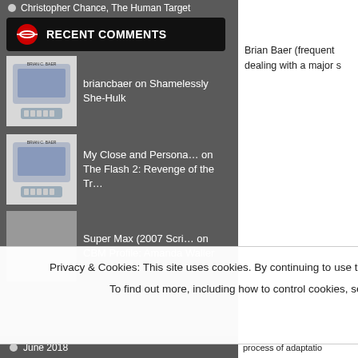Christopher Chance, The Human Target
RECENT COMMENTS
briancbaer on Shamelessly She-Hulk
My Close and Persona… on The Flash 2: Revenge of the Tr…
Super Max (2007 Scri… on CBM Profile: Amanda Waller
briancbaer on Make Superman Great Again!
dolphultimate on CBM INTERVIEW: Punisher: L…
Brian Baer (frequent dealing with a major s
Privacy & Cookies: This site uses cookies. By continuing to use this website, you agree to their use. To find out more, including how to control cookies, see here: Cookie Policy
Close and accept
June 2018
process of adaptation